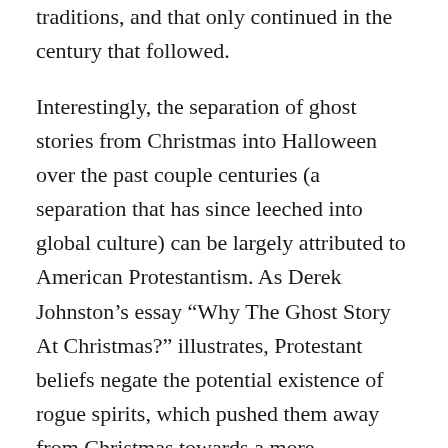traditions, and that only continued in the century that followed.
Interestingly, the separation of ghost stories from Christmas into Halloween over the past couple centuries (a separation that has since leeched into global culture) can be largely attributed to American Protestantism. As Derek Johnston’s essay “Why The Ghost Story At Christmas?” illustrates, Protestant beliefs negate the potential existence of rogue spirits, which pushed them away from Christmas towards a more secularised Halloween. (People can’t not have ghost stories, after all.) But the more significant Catholic presence in the United Kingdom led to a much more substantial horror presence at Christmastime, expressed via Christmas specials from